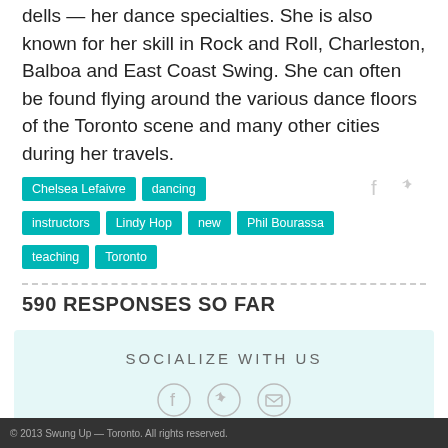dells — her dance specialties. She is also known for her skill in Rock and Roll, Charleston, Balboa and East Coast Swing. She can often be found flying around the various dance floors of the Toronto scene and many other cities during her travels.
Chelsea Lefaivre
dancing
instructors
Lindy Hop
new
Phil Bourassa
teaching
Toronto
590 RESPONSES SO FAR
SOCIALIZE WITH US
© 2013 Swung Up — Toronto. All rights reserved.